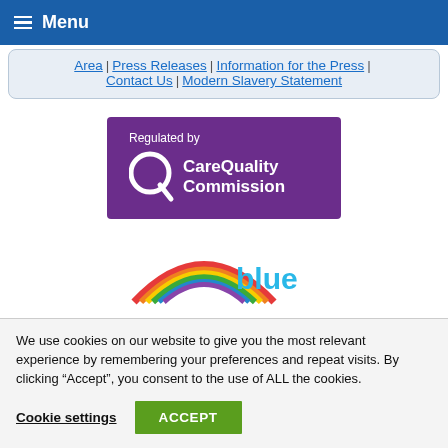Menu
Area | Press Releases | Information for the Press | Contact Us | Modern Slavery Statement
[Figure (logo): Care Quality Commission logo - purple rectangle with 'Regulated by' text above CQC logo with Q icon and 'CareQuality Commission' text in white]
[Figure (logo): Partial rainbow logo with 'blue' text visible]
We use cookies on our website to give you the most relevant experience by remembering your preferences and repeat visits. By clicking “Accept”, you consent to the use of ALL the cookies.
Cookie settings | ACCEPT